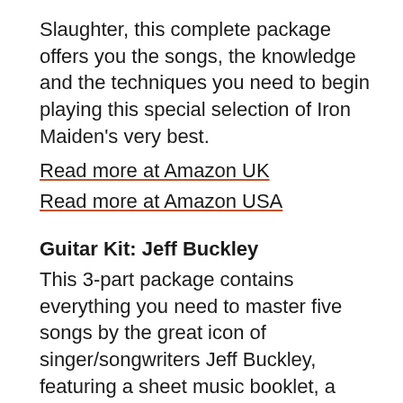Slaughter, this complete package offers you the songs, the knowledge and the techniques you need to begin playing this special selection of Iron Maiden's very best.
Read more at Amazon UK
Read more at Amazon USA
Guitar Kit: Jeff Buckley
This 3-part package contains everything you need to master five songs by the great icon of singer/songwriters Jeff Buckley, featuring a sheet music booklet, a tutorial DVD and a CD of superb soundalike backing tracks. Learn to play the five songs note-by-note with the DVD tutorial – you'll get as close as possible to help you master the correct fingerings, techniques and sounds. A 56-page booklet contains the printed music in notation and tablature to support the on-screen